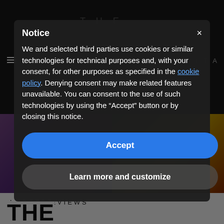[Figure (screenshot): Website background showing a dark entertainment/magazine website with images of performers and text 'DELIGHTFUL', 'LISTS & REVIEWS', and partial large 'THE' heading]
Notice
We and selected third parties use cookies or similar technologies for technical purposes and, with your consent, for other purposes as specified in the cookie policy. Denying consent may make related features unavailable. You can consent to the use of such technologies by using the “Accept” button or by closing this notice.
Accept
Learn more and customize